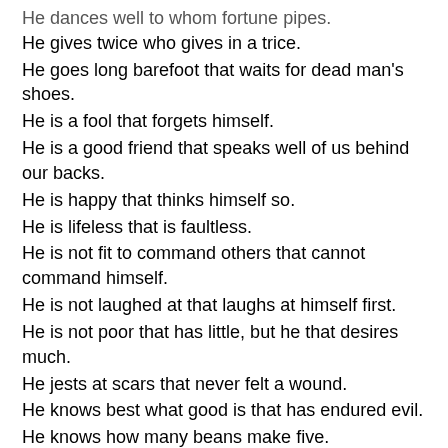He dances well to whom fortune pipes.
He gives twice who gives in a trice.
He goes long barefoot that waits for dead man's shoes.
He is a fool that forgets himself.
He is a good friend that speaks well of us behind our backs.
He is happy that thinks himself so.
He is lifeless that is faultless.
He is not fit to command others that cannot command himself.
He is not laughed at that laughs at himself first.
He is not poor that has little, but he that desires much.
He jests at scars that never felt a wound.
He knows best what good is that has endured evil.
He knows how many beans make five.
He knows much who knows how to hold his tongue.
He laughs best who laughs last.